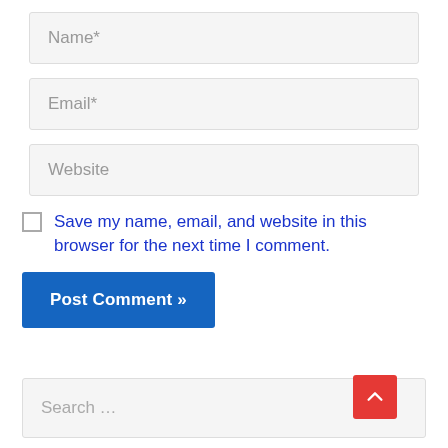Name*
Email*
Website
Save my name, email, and website in this browser for the next time I comment.
Post Comment »
Search …